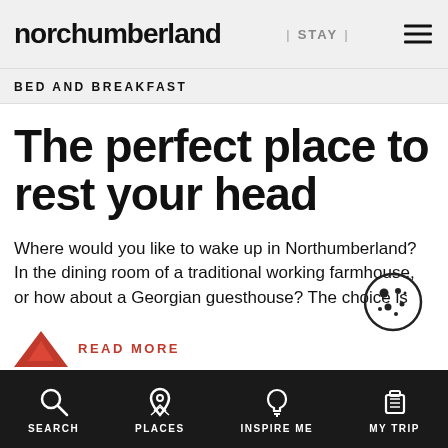Northumberland | STAY |
BED AND BREAKFAST
The perfect place to rest your head
Where would you like to wake up in Northumberland? In the dining room of a traditional working farmhouse, or how about a Georgian guesthouse? The choice is
READ MORE
SEARCH  PLACES  INSPIRE ME  MY TRIP